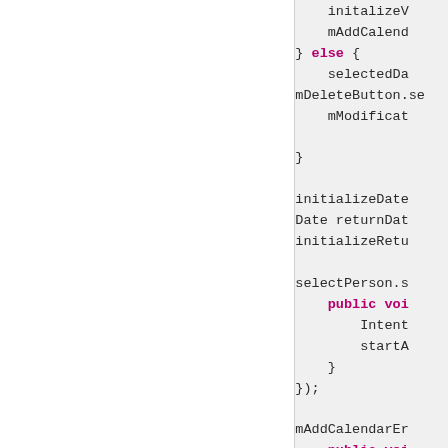[Figure (screenshot): A code editor screenshot showing Java/Android code. Left panel is white (blank/empty area). Right panel shows code with dark background with keywords like 'else', 'public void', 'if' highlighted in purple/magenta. Code includes initializeV, mAddCalend, else block with selectedDa, mDeleteButton.se, mModificat, closing braces, initializeDate, Date returnDate, initializeRetu, selectPerson.s, public void, Intent, startA, closing braces, });, mAddCalendarEr, public void, addCa, if (ac, mO]